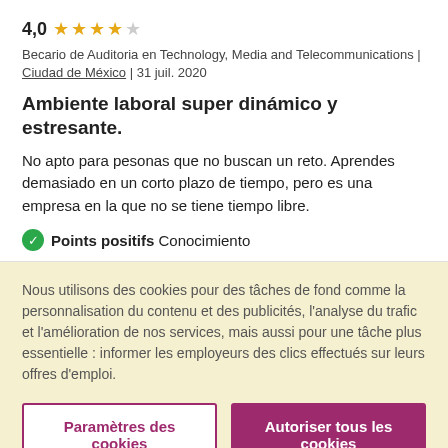4,0 ★★★★☆
Becario de Auditoria en Technology, Media and Telecommunications | Ciudad de México | 31 juil. 2020
Ambiente laboral super dinámico y estresante.
No apto para pesonas que no buscan un reto. Aprendes demasiado en un corto plazo de tiempo, pero es una empresa en la que no se tiene tiempo libre.
✅ Points positifs Conocimiento
Nous utilisons des cookies pour des tâches de fond comme la personnalisation du contenu et des publicités, l'analyse du trafic et l'amélioration de nos services, mais aussi pour une tâche plus essentielle : informer les employeurs des clics effectués sur leurs offres d'emploi.
Paramètres des cookies
Autoriser tous les cookies